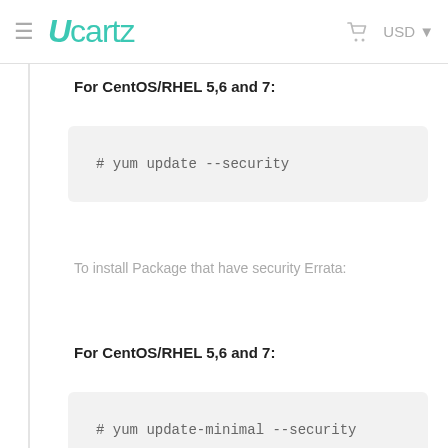Ucartz — USD
For CentOS/RHEL 5,6 and 7:
# yum update --security
To install Package that have security Errata:
For CentOS/RHEL 5,6 and 7:
# yum update-minimal --security